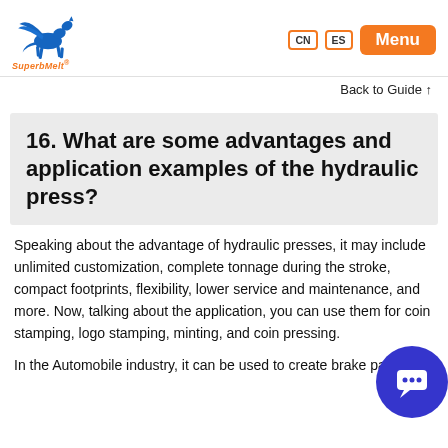SuperbMelt | CN | ES | Menu
Back to Guide ↑
16. What are some advantages and application examples of the hydraulic press?
Speaking about the advantage of hydraulic presses, it may include unlimited customization, complete tonnage during the stroke, compact footprints, flexibility, lower service and maintenance, and more. Now, talking about the application, you can use them for coin stamping, logo stamping, minting, and coin pressing.
In the Automobile industry, it can be used to create brake pads,